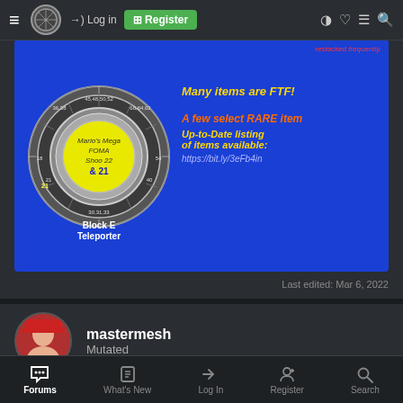≡  Log in  Register
[Figure (screenshot): Blue banner with a coin/wheel graphic on the left labeled 'Block E Teleporter' and text on right: 'Many items are FTF!' in yellow, 'A few select RARE item' in orange italic, 'Up-to-Date listing of items available:' in yellow italic, 'https://bit.ly/3eFb4in' in light blue italic]
Last edited: Mar 6, 2022
mastermesh
Mutated
Mar 7, 2022  #223
Forums  What's New  Log In  Register  Search